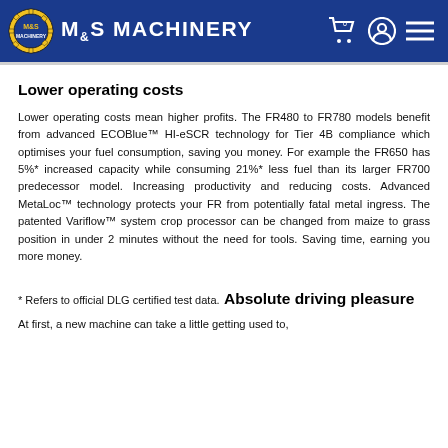M&S MACHINERY
Lower operating costs
Lower operating costs mean higher profits. The FR480 to FR780 models benefit from advanced ECOBlue™ HI-eSCR technology for Tier 4B compliance which optimises your fuel consumption, saving you money. For example the FR650 has 5%* increased capacity while consuming 21%* less fuel than its larger FR700 predecessor model. Increasing productivity and reducing costs. Advanced MetaLoc™ technology protects your FR from potentially fatal metal ingress. The patented Variflow™ system crop processor can be changed from maize to grass position in under 2 minutes without the need for tools. Saving time, earning you more money.
* Refers to official DLG certified test data.
Absolute driving pleasure